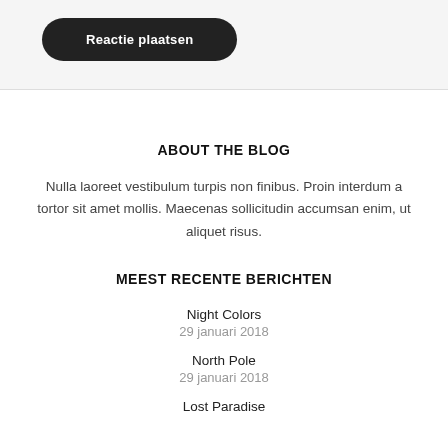Reactie plaatsen
ABOUT THE BLOG
Nulla laoreet vestibulum turpis non finibus. Proin interdum a tortor sit amet mollis. Maecenas sollicitudin accumsan enim, ut aliquet risus.
MEEST RECENTE BERICHTEN
Night Colors
29 januari 2018
North Pole
29 januari 2018
Lost Paradise